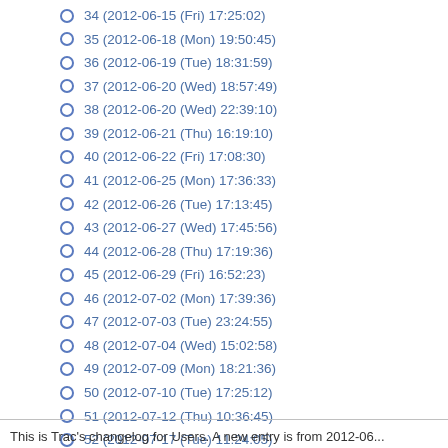34 (2012-06-15 (Fri) 17:25:02)
35 (2012-06-18 (Mon) 19:50:45)
36 (2012-06-19 (Tue) 18:31:59)
37 (2012-06-20 (Wed) 18:57:49)
38 (2012-06-20 (Wed) 22:39:10)
39 (2012-06-21 (Thu) 16:19:10)
40 (2012-06-22 (Fri) 17:08:30)
41 (2012-06-25 (Mon) 17:36:33)
42 (2012-06-26 (Tue) 17:13:45)
43 (2012-06-27 (Wed) 17:45:56)
44 (2012-06-28 (Thu) 17:19:36)
45 (2012-06-29 (Fri) 16:52:23)
46 (2012-07-02 (Mon) 17:39:36)
47 (2012-07-03 (Tue) 23:24:55)
48 (2012-07-04 (Wed) 15:02:58)
49 (2012-07-09 (Mon) 18:21:36)
50 (2012-07-10 (Tue) 17:25:12)
51 (2012-07-12 (Thu) 10:36:45)
52 (2012-07-17 (Tue) 11:24:05)
53 (2012-07-17 (Tue) 16:56:30)
54 (2012-07-20 (Fri) 12:50:14)
55 (2012-07-20 (Fri) 20:00:21)
This is Trac's changelog for Users. A new entry is from 2012-06...